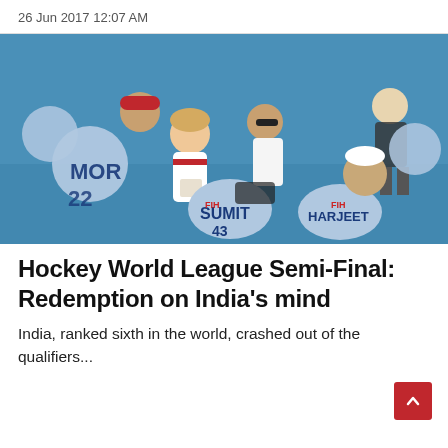26 Jun 2017 12:07 AM
[Figure (photo): Indian hockey team players in light blue jerseys with names SUMIT and HARJEET visible, huddled in a circle on a blue turf field around a coach in white who is showing them notes. Another coach in white and red stands nearby.]
Hockey World League Semi-Final: Redemption on India's mind
India, ranked sixth in the world, crashed out of the qualifiers...